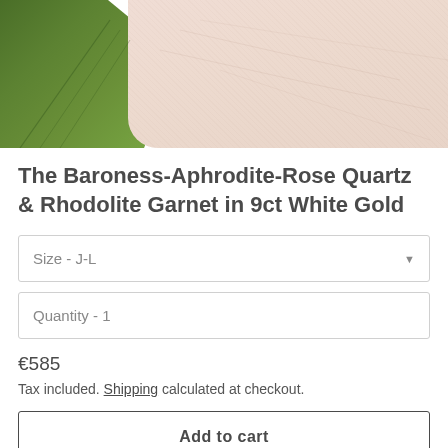[Figure (photo): Close-up photo of a hand holding something near green leaves, showing skin texture and greenery]
The Baroness-Aphrodite-Rose Quartz & Rhodolite Garnet in 9ct White Gold
Size - J-L
Quantity - 1
€585
Tax included. Shipping calculated at checkout.
Add to cart